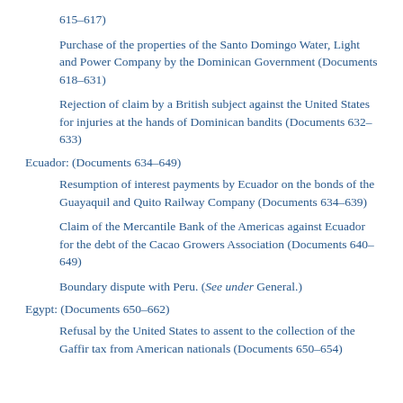615–617)
Purchase of the properties of the Santo Domingo Water, Light and Power Company by the Dominican Government (Documents 618–631)
Rejection of claim by a British subject against the United States for injuries at the hands of Dominican bandits (Documents 632–633)
Ecuador: (Documents 634–649)
Resumption of interest payments by Ecuador on the bonds of the Guayaquil and Quito Railway Company (Documents 634–639)
Claim of the Mercantile Bank of the Americas against Ecuador for the debt of the Cacao Growers Association (Documents 640–649)
Boundary dispute with Peru. (See under General.)
Egypt: (Documents 650–662)
Refusal by the United States to assent to the collection of the Gaffir tax from American nationals (Documents 650–654)